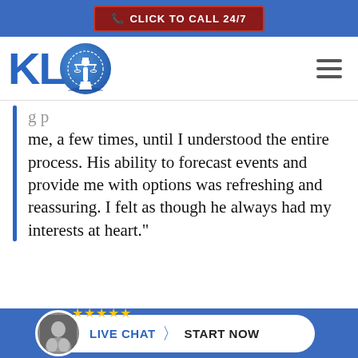CLICK TO CALL 24/7
[Figure (logo): KLO law firm logo with Lady Justice in a blue circle]
g p me, a few times, until I understood the entire process. His ability to forecast events and provide me with options was refreshing and reassuring. I felt as though he always had my interests at heart."
LIVE CHAT  START NOW